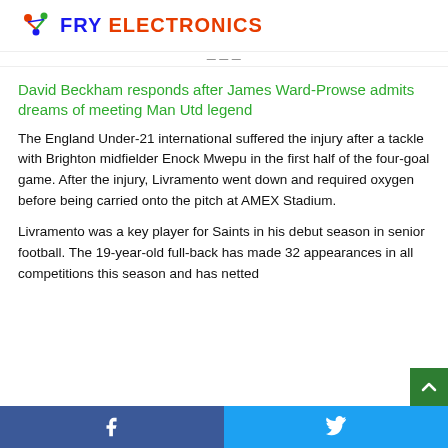FRY ELECTRONICS
David Beckham responds after James Ward-Prowse admits dreams of meeting Man Utd legend
The England Under-21 international suffered the injury after a tackle with Brighton midfielder Enock Mwepu in the first half of the four-goal game. After the injury, Livramento went down and required oxygen before being carried onto the pitch at AMEX Stadium.
Livramento was a key player for Saints in his debut season in senior football. The 19-year-old full-back has made 32 appearances in all competitions this season and has netted
Facebook  Twitter